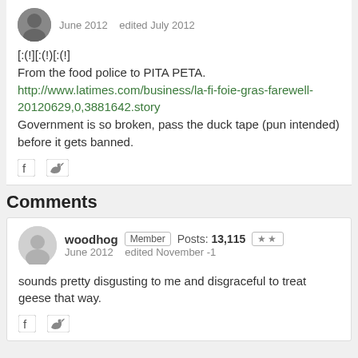June 2012   edited July 2012
[:(!][:(!)[:(!]
From the food police to PITA PETA.
http://www.latimes.com/business/la-fi-foie-gras-farewell-20120629,0,3881642.story
Government is so broken, pass the duck tape (pun intended) before it gets banned.
Comments
woodhog  Member  Posts: 13,115  **
June 2012   edited November -1
sounds pretty disgusting to me and disgraceful to treat geese that way.